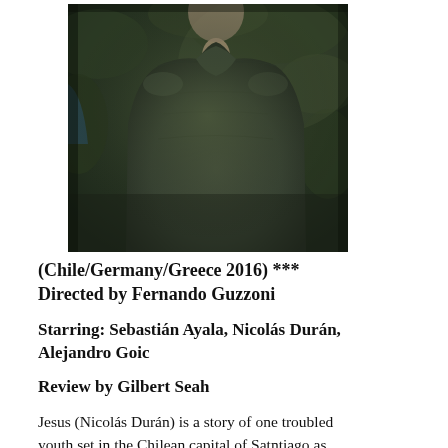[Figure (photo): A person from behind wearing a dark olive/green jacket, surrounded by blurred dark green foliage background. Only the back and shoulders are visible.]
(Chile/Germany/Greece 2016) ***
Directed by Fernando Guzzoni
Starring: Sebastián Ayala, Nicolás Durán, Alejandro Goic
Review by Gilbert Seah
Jesus (Nicolás Durán) is a story of one troubled youth set in the Chilean capital of Satntiago as